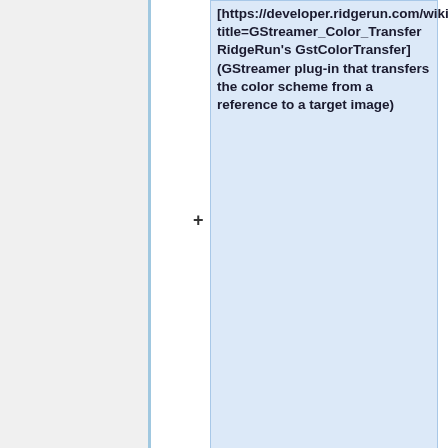[https://developer.ridgerun.com/wiki/index.php?title=GStreamer_Color_Transfer RidgeRun's GstColorTransfer] (GStreamer plug-in that transfers the color scheme from a reference to a target image)
=== V4L2 drivers for cameras ===
=== V4L2 drivers for cameras ===
Revision as of 07:36, 28 May 2019